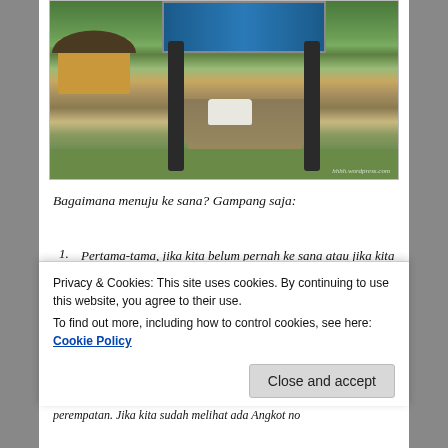[Figure (photo): Entrance gate to Sukamantri Camping Ground with a traditional Indonesian hut on the left, stone gate pillars, a car driving through, and lush green trees surrounding a gravel road.]
Bagaimana menuju ke sana? Gampang saja:
Pertama-tama, jika kita belum pernah ke sana atau jika kita tidak begitu mengenal Bogor, gunakanlah Google Map lalu cari 'Sukamantri Camping Ground'. Kita akan diberi beberapa pilihan rute & jelas lokasinya berada dimana. Jangan lupa, Bogor
Privacy & Cookies: This site uses cookies. By continuing to use this website, you agree to their use.
To find out more, including how to control cookies, see here: Cookie Policy
perempatan. Jika kita sudah melihat ada Angkot no